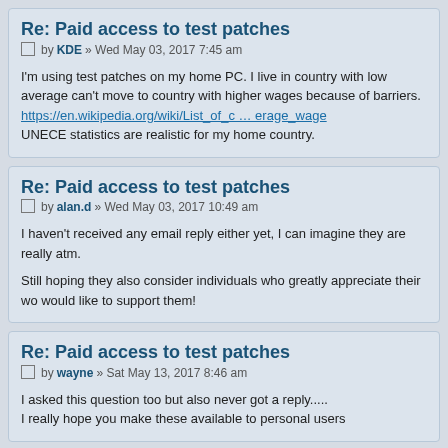Re: Paid access to test patches
by KDE » Wed May 03, 2017 7:45 am
I'm using test patches on my home PC. I live in country with low average can't move to country with higher wages because of barriers.
https://en.wikipedia.org/wiki/List_of_c … erage_wage
UNECE statistics are realistic for my home country.
Re: Paid access to test patches
by alan.d » Wed May 03, 2017 10:49 am
I haven't received any email reply either yet, I can imagine they are really atm.

Still hoping they also consider individuals who greatly appreciate their wo would like to support them!
Re: Paid access to test patches
by wayne » Sat May 13, 2017 8:46 am
I asked this question too but also never got a reply.....
I really hope you make these available to personal users
Re: Paid access to test patches